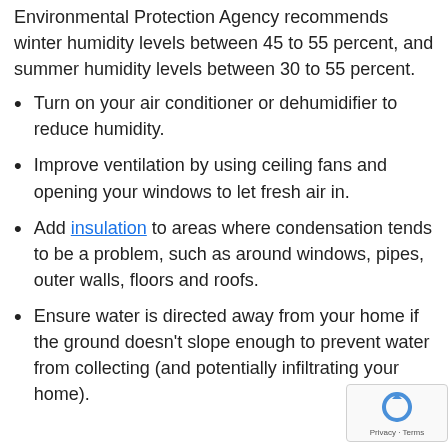Keep your indoor humidity levels in check. The U.S. Environmental Protection Agency recommends winter humidity levels between 45 to 55 percent, and summer humidity levels between 30 to 55 percent.
Turn on your air conditioner or dehumidifier to reduce humidity.
Improve ventilation by using ceiling fans and opening your windows to let fresh air in.
Add insulation to areas where condensation tends to be a problem, such as around windows, pipes, outer walls, floors and roofs.
Ensure water is directed away from your home if the ground doesn't slope enough to prevent water from collecting (and potentially infiltrating your home).